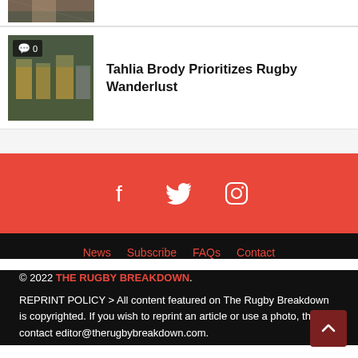[Figure (photo): Partial rugby player photo at top]
[Figure (photo): Rugby team huddle photo with comment badge showing 0 comments]
Tahlia Brody Prioritizes Rugby Wanderlust
[Figure (infographic): Red social media bar with Facebook, Twitter, and Instagram icons]
News  Subscribe  FAQs  Contact
© 2022 THE RUGBY BREAKDOWN.
REPRINT POLICY > All content featured on The Rugby Breakdown is copyrighted. If you wish to reprint an article or use a photo, then contact editor@therugbybreakdown.com.